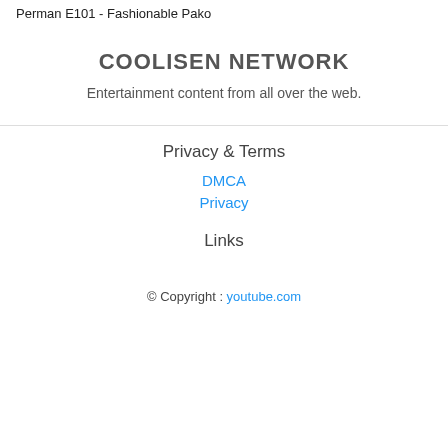Perman E101 - Fashionable Pako
COOLISEN NETWORK
Entertainment content from all over the web.
Privacy & Terms
DMCA
Privacy
Links
© Copyright : youtube.com